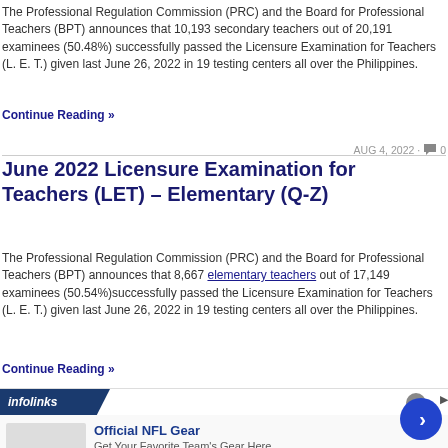The Professional Regulation Commission (PRC) and the Board for Professional Teachers (BPT) announces that 10,193 secondary teachers out of 20,191 examinees (50.48%) successfully passed the Licensure Examination for Teachers (L. E. T.) given last June 26, 2022 in 19 testing centers all over the Philippines.
Continue Reading »
AUG 4, 2022 · 0
June 2022 Licensure Examination for Teachers (LET) – Elementary (Q-Z)
The Professional Regulation Commission (PRC) and the Board for Professional Teachers (BPT) announces that 8,667 elementary teachers out of 17,149 examinees (50.54%)successfully passed the Licensure Examination for Teachers (L. E. T.) given last June 26, 2022 in 19 testing centers all over the Philippines.
Continue Reading »
[Figure (screenshot): Infolinks advertisement banner showing 'Official NFL Gear - Get Your Favorite Team's Here - www.nflshop.com' with a blue circle button and close button]